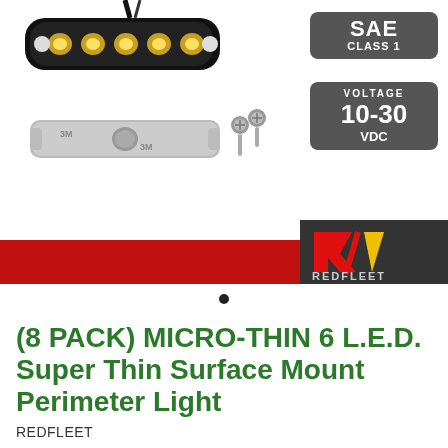[Figure (photo): LED light bar product photo showing a slim 6-LED surface mount light in black housing, a mounting bracket with adhesive tape, and two mounting screws on white background]
[Figure (infographic): SAE Class 1 badge - dark grey rounded rectangle badge showing 'SAE' at top and 'CLASS 1' below]
[Figure (infographic): Voltage badge - dark grey rounded rectangle showing 'VOLTAGE' label, '10-30' in large bold white text, and 'VDC' below]
[Figure (logo): REDFLEET logo on dark grey background - red stylized R with diagonal slash and yellow accent triangle, REDFLEET text below]
(8 PACK) MICRO-THIN 6 L.E.D. Super Thin Surface Mount Perimeter Light
REDFLEET